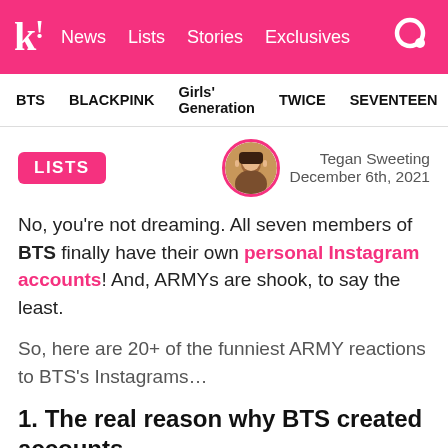Koreaboo | News | Lists | Stories | Exclusives
BTS | BLACKPINK | Girls' Generation | TWICE | SEVENTEEN
LISTS
Tegan Sweeting
December 6th, 2021
No, you're not dreaming. All seven members of BTS finally have their own personal Instagram accounts! And, ARMYs are shook, to say the least.
So, here are 20+ of the funniest ARMY reactions to BTS's Instagrams…
1. The real reason why BTS created accounts